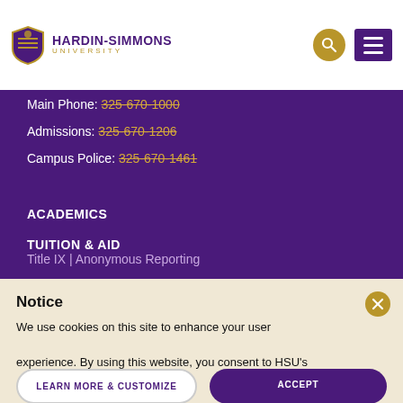Hardin-Simmons University
Main Phone: 325-670-1000
Admissions: 325-670-1206
Campus Police: 325-670-1461
ACADEMICS
Title IX | Anonymous Reporting
Find People & Offices
TUITION & AID
Notice
We use cookies on this site to enhance your user experience. By using this website, you consent to HSU's security compliance and privacy policies.
LEARN MORE & CUSTOMIZE
ACCEPT